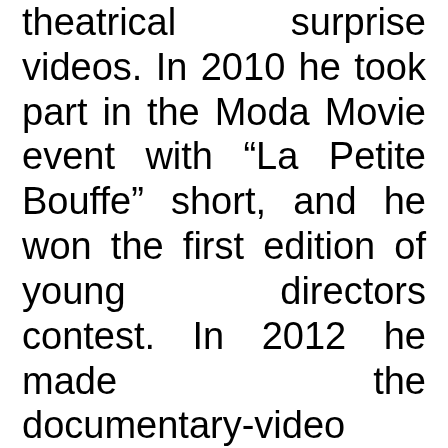theatrical surprise videos. In 2010 he took part in the Moda Movie event with “La Petite Bouffe” short, and he won the first edition of young directors contest. In 2012 he made the documentary-video “Cercando Mercuzio”: it deals with a reportage about the director Armando Punzo’s theatrical workshop, on behalf of Zahir cultural association.